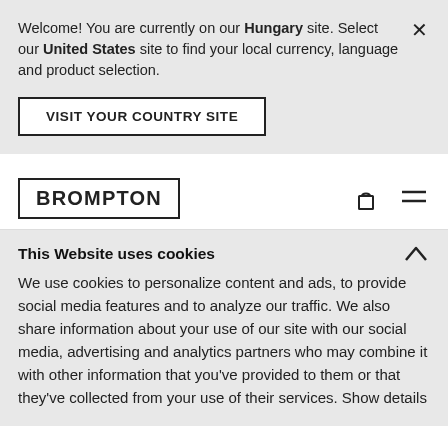Welcome! You are currently on our Hungary site. Select our United States site to find your local currency, language and product selection.
VISIT YOUR COUNTRY SITE
[Figure (logo): BROMPTON logo in bordered box]
This Website uses cookies
We use cookies to personalize content and ads, to provide social media features and to analyze our traffic. We also share information about your use of our site with our social media, advertising and analytics partners who may combine it with other information that you've provided to them or that they've collected from your use of their services. Show details